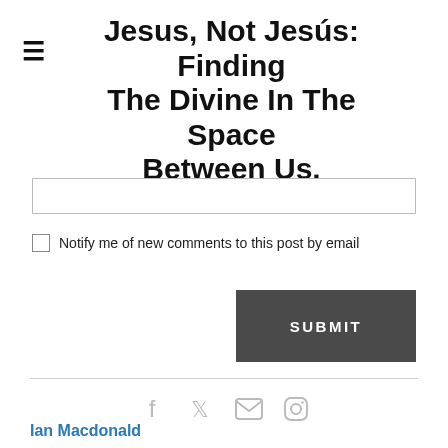Jesus, Not Jesús: Finding The Divine In The Space Between Us.
[Figure (screenshot): Text input box (comment field)]
Notify me of new comments to this post by email
[Figure (screenshot): Submit button]
[Figure (infographic): Social media icons: Facebook, Twitter, email/envelope, Instagram]
Ian Macdonald